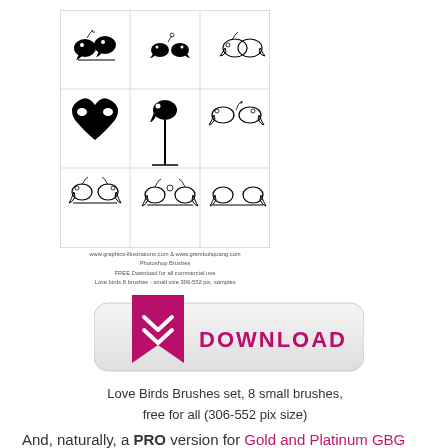[Figure (illustration): Preview sheet of Love Birds Photoshop brushes showing 8 bird silhouettes and outlines arranged in a grid, with website URLs at the bottom and description text.]
www.graphics-illustrations.com & www.gremboltquang.com
Photoshop Brushes
FREE Download for all commercial use
Love birds 8 brushes - small size 306-552 pix, samples
[Figure (other): Download button: a pink/magenta bookmark icon on the left and the word DOWNLOAD in large pink bold letters on a light gray rounded rectangle button.]
Love Birds Brushes set, 8 small brushes, free for all (306-552 pix size)
And, naturally, a PRO version for Gold and Platinum GBG members, meaning there are more